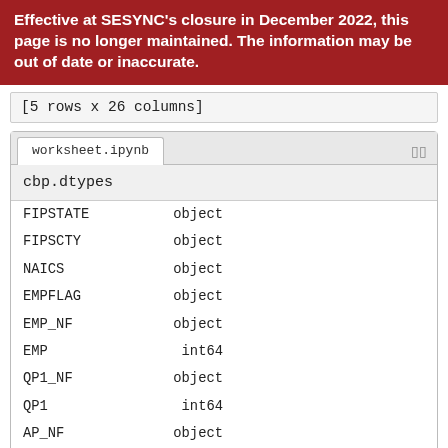Effective at SESYNC's closure in December 2022, this page is no longer maintained. The information may be out of date or inaccurate.
[5 rows x 26 columns]
worksheet.ipynb
cbp.dtypes
FIPSTATE    object
FIPSCTY     object
NAICS       object
EMPFLAG     object
EMP_NF      object
EMP          int64
QP1_NF      object
QP1          int64
AP_NF       object
AP           int64
EST          int64